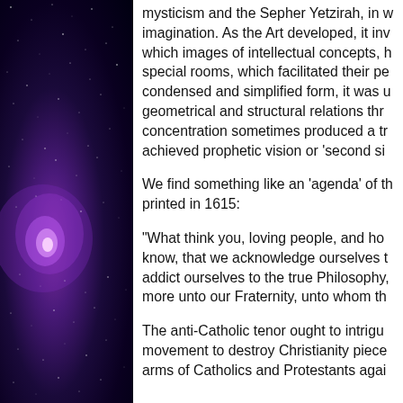[Figure (illustration): A deep space/galaxy image with purple and violet nebula against a black starfield background, positioned on the left side of the page.]
mysticism and the Sepher Yetzirah, in w imagination. As the Art developed, it inv which images of intellectual concepts, h special rooms, which facilitated their pe condensed and simplified form, it was u geometrical and structural relations thr concentration sometimes produced a tr achieved prophetic vision or 'second si
We find something like an 'agenda' of th printed in 1615:
"What think you, loving people, and ho know, that we acknowledge ourselves t addict ourselves to the true Philosophy, more unto our Fraternity, unto whom th
The anti-Catholic tenor ought to intrigu movement to destroy Christianity piece arms of Catholics and Protestants agai